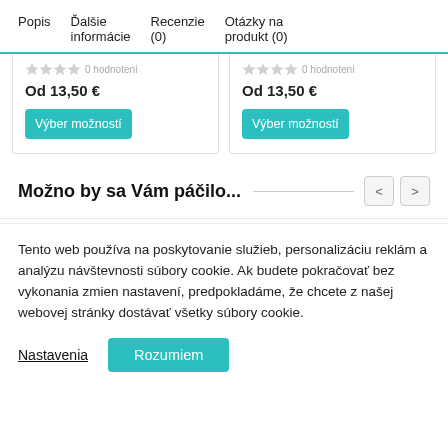Popis | Ďalšie informácie | Recenzie (0) | Otázky na produkt (0)
0 hodnotení
Od 13,50 €
Výber možností
0 hodnotení
Od 13,50 €
Výber možností
Možno by sa Vám páčilo...
Tento web používa na poskytovanie služieb, personalizáciu reklám a analýzu návštevnosti súbory cookie. Ak budete pokračovať bez vykonania zmien nastavení, predpokladáme, že chcete z našej webovej stránky dostávať všetky súbory cookie.
Nastavenia   Rozumiem